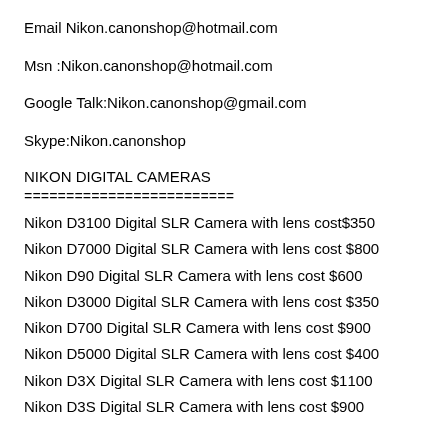Email Nikon.canonshop@hotmail.com
Msn :Nikon.canonshop@hotmail.com
Google Talk:Nikon.canonshop@gmail.com
Skype:Nikon.canonshop
NIKON DIGITAL CAMERAS
=========================
Nikon D3100 Digital SLR Camera with lens cost$350
Nikon D7000 Digital SLR Camera with lens cost $800
Nikon D90 Digital SLR Camera with lens cost $600
Nikon D3000 Digital SLR Camera with lens cost $350
Nikon D700 Digital SLR Camera with lens cost $900
Nikon D5000 Digital SLR Camera with lens cost $400
Nikon D3X Digital SLR Camera with lens cost $1100
Nikon D3S Digital SLR Camera with lens cost $900